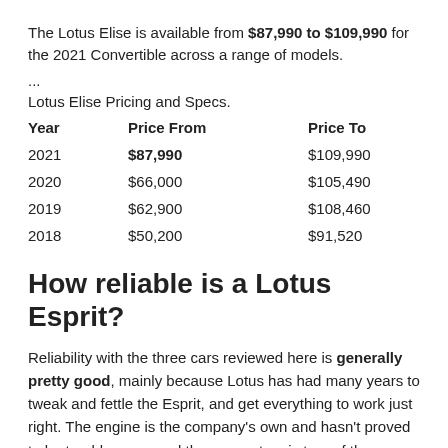The Lotus Elise is available from $87,990 to $109,990 for the 2021 Convertible across a range of models.
...
Lotus Elise Pricing and Specs.
| Year | Price From | Price To |
| --- | --- | --- |
| 2021 | $87,990 | $109,990 |
| 2020 | $66,000 | $105,490 |
| 2019 | $62,900 | $108,460 |
| 2018 | $50,200 | $91,520 |
How reliable is a Lotus Esprit?
Reliability with the three cars reviewed here is generally pretty good, mainly because Lotus has had many years to tweak and fettle the Esprit, and get everything to work just right. The engine is the company's own and hasn't proved to be troublesome, and the same story is true of the chassis.